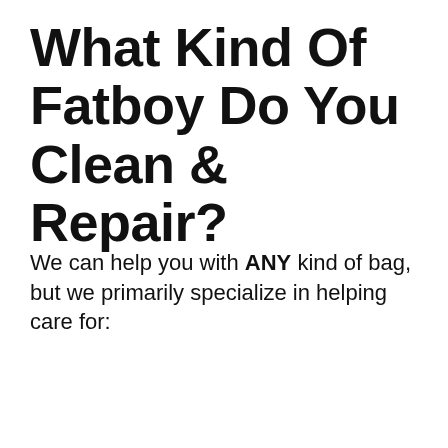What Kind Of Fatboy Do You Clean & Repair?
We can help you with ANY kind of bag, but we primarily specialize in helping care for: